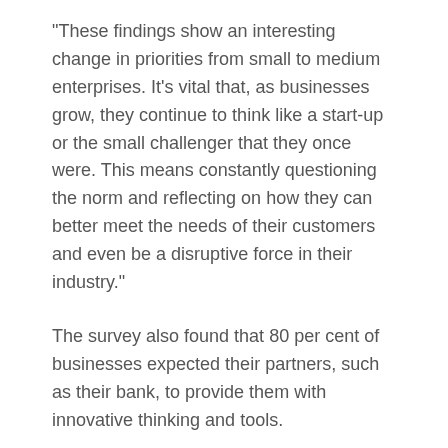“These findings show an interesting change in priorities from small to medium enterprises. It’s vital that, as businesses grow, they continue to think like a start-up or the small challenger that they once were. This means constantly questioning the norm and reflecting on how they can better meet the needs of their customers and even be a disruptive force in their industry.”
The survey also found that 80 per cent of businesses expected their partners, such as their bank, to provide them with innovative thinking and tools.
“This is very much an area Commonwealth Bank has been investing in, including our Daily IQ data analytics service, leading-edge Albert point-of-sale device and deep business and industry expertise and advice,” Mr